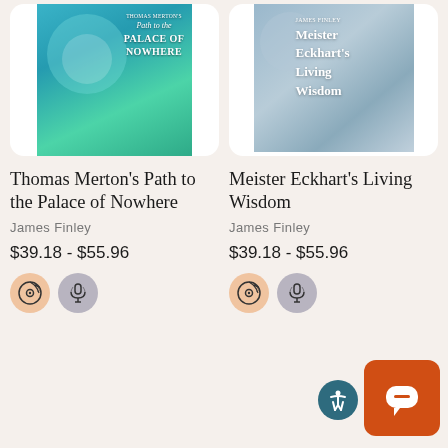[Figure (illustration): Book cover for 'Thomas Merton's Path to the Palace of Nowhere' by James Finley — teal/blue-green tones with abstract figure]
[Figure (illustration): Book cover for 'Meister Eckhart's Living Wisdom' by James Finley — blue-grey muted tones]
Thomas Merton's Path to the Palace of Nowhere
James Finley
$39.18 - $55.96
Meister Eckhart's Living Wisdom
James Finley
$39.18 - $55.96